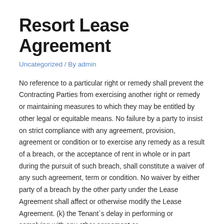Resort Lease Agreement
Uncategorized / By admin
No reference to a particular right or remedy shall prevent the Contracting Parties from exercising another right or remedy or maintaining measures to which they may be entitled by other legal or equitable means. No failure by a party to insist on strict compliance with any agreement, provision, agreement or condition or to exercise any remedy as a result of a breach, or the acceptance of rent in whole or in part during the pursuit of such breach, shall constitute a waiver of any such agreement, term or condition. No waiver by either party of a breach by the other party under the Lease Agreement shall affect or otherwise modify the Lease Agreement. (k) the Tenant`s delay in performing or complying with any other agreement or